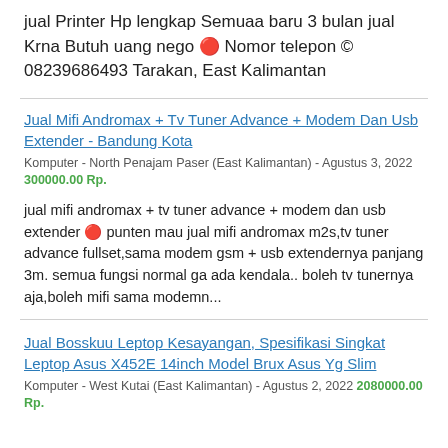jual Printer Hp lengkap Semuaa baru 3 bulan jual Krna Butuh uang nego 🔴 Nomor telepon © 08239686493 Tarakan, East Kalimantan
Jual Mifi Andromax + Tv Tuner Advance + Modem Dan Usb Extender - Bandung Kota
Komputer - North Penajam Paser (East Kalimantan) - Agustus 3, 2022 300000.00 Rp.
jual mifi andromax + tv tuner advance + modem dan usb extender 🔴 punten mau jual mifi andromax m2s,tv tuner advance fullset,sama modem gsm + usb extendernya panjang 3m. semua fungsi normal ga ada kendala.. boleh tv tunernya aja,boleh mifi sama modemn...
Jual Bosskuu Leptop Kesayangan, Spesifikasi Singkat Leptop Asus X452E 14inch Model Brux Asus Yg Slim
Komputer - West Kutai (East Kalimantan) - Agustus 2, 2022 2080000.00 Rp.